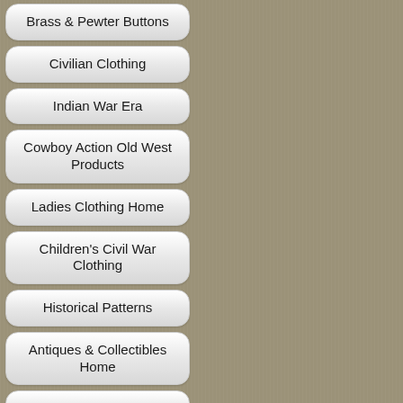Brass & Pewter Buttons
Civilian Clothing
Indian War Era
Cowboy Action Old West Products
Ladies Clothing Home
Children's Civil War Clothing
Historical Patterns
Antiques & Collectibles Home
Games and Toys
Clothing Ordering Instructions
Sales / Ship Rates